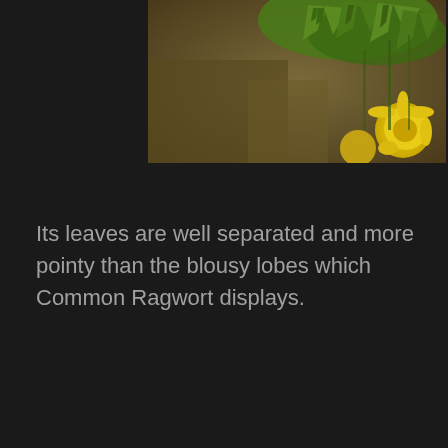[Figure (photo): Close-up photograph of plant leaves with pointed green lobes and yellow flowers visible, against a blurred background of rocks/bark. The plant appears to be a type of ragwort.]
Its leaves are well separated and more pointy than the blousy lobes which Common Ragwort displays.